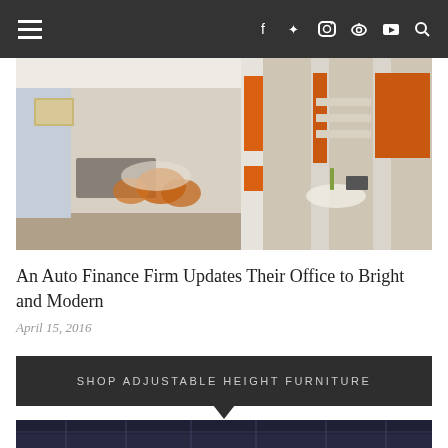Navigation bar with hamburger menu and social icons: f, twitter, instagram, pinterest, youtube, search
[Figure (photo): Modern office interior with orange and white partition panels, ergonomic chairs, and open workspace areas]
An Auto Finance Firm Updates Their Office to Bright and Modern
April 15, 2016
SHOP ADJUSTABLE HEIGHT FURNITURE